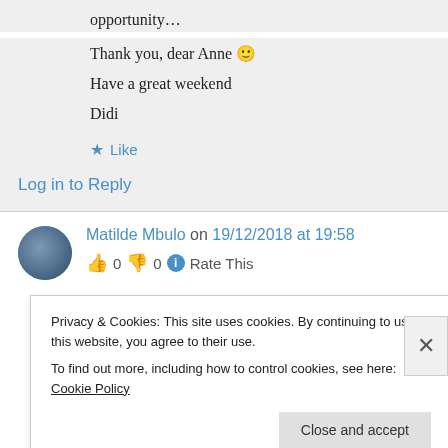opportunity…
Thank you, dear Anne 🙂
Have a great weekend
Didi
★ Like
Log in to Reply
Matilde Mbulo on 19/12/2018 at 19:58
👍 0 👎 0 ℹ Rate This
Privacy & Cookies: This site uses cookies. By continuing to use this website, you agree to their use.
To find out more, including how to control cookies, see here: Cookie Policy
Close and accept